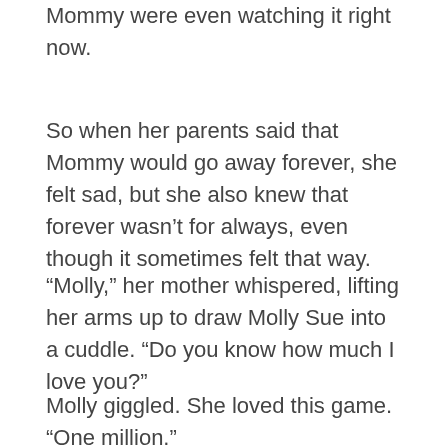Mommy were even watching it right now.
So when her parents said that Mommy would go away forever, she felt sad, but she also knew that forever wasn’t for always, even though it sometimes felt that way.
“Molly,” her mother whispered, lifting her arms up to draw Molly Sue into a cuddle. “Do you know how much I love you?”
Molly giggled. She loved this game. “One million.”